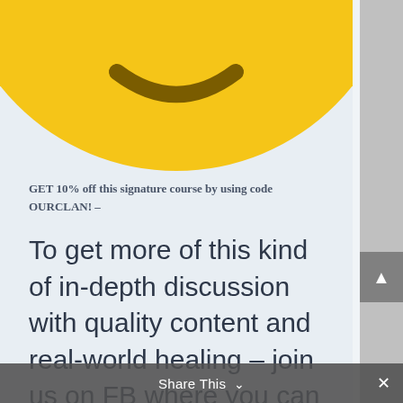[Figure (illustration): Bottom portion of a yellow smiley face emoji with a smile/smirk, cropped at the top]
GET 10% off this signature course by using code OURCLAN!  –
To get more of this kind of in-depth discussion with quality content and real-world healing – join us on FB where you can find more of your peeps.  Want even more than that?  Join our Neuronerd Patreon community at
Share This ∨  ×